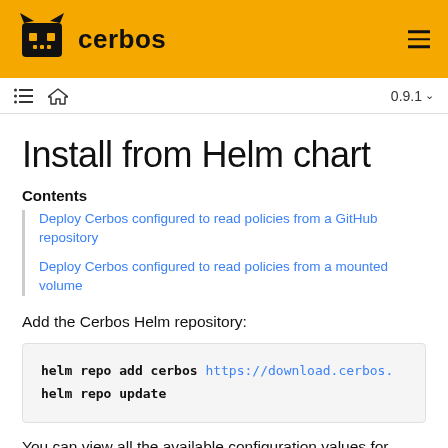cerbos
Install from Helm chart
Contents
Deploy Cerbos configured to read policies from a GitHub repository
Deploy Cerbos configured to read policies from a mounted volume
Add the Cerbos Helm repository:
helm repo add cerbos https://download.cerbos.
helm repo update
You can view all the available configuration values for